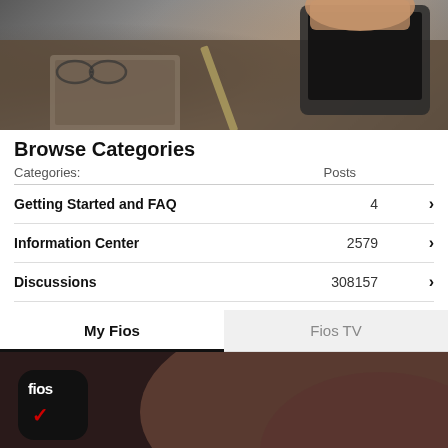[Figure (photo): A person's hand holding a tablet/phone over a desk with glasses, pencil, notebook, and laptop visible]
Browse Categories
| Categories: | Posts |
| --- | --- |
| Getting Started and FAQ | 4 |
| Information Center | 2579 |
| Discussions | 308157 |
My Fios
Fios TV
[Figure (screenshot): Fios app icon (black rounded square with 'fios' text and red checkmark) on a dark gradient background]
Take control with the My Fi...